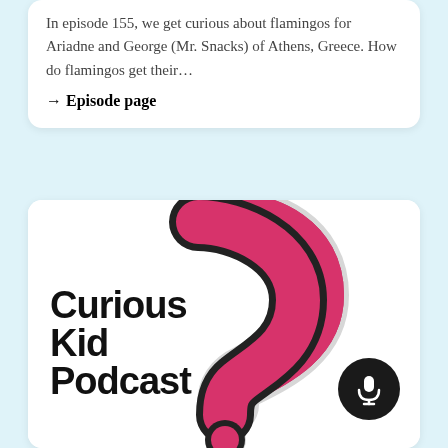In episode 155, we get curious about flamingos for Ariadne and George (Mr. Snacks) of Athens, Greece. How do flamingos get their…
→ Episode page
[Figure (logo): Curious Kid Podcast logo featuring a large pink question mark with thick dark outline, bold black text reading 'Curious Kid Podcast', and a microphone icon in a dark circle]